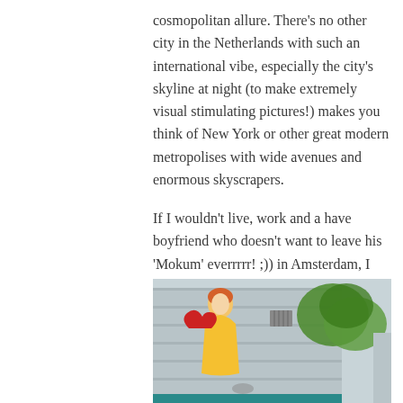cosmopolitan allure. There’s no other city in the Netherlands with such an international vibe, especially the city’s skyline at night (to make extremely visual stimulating pictures!) makes you think of New York or other great modern metropolises with wide avenues and enormous skyscrapers.

If I wouldn’t live, work and a have boyfriend who doesn’t want to leave his ‘Mokum’ everrrrr! ;)) in Amsterdam, I would definitely pack my bags and move to Rotterdam! Stay tuned for more Rotterdam highlights….
[Figure (photo): Outdoor mural on a building wall showing a woman in a yellow dress with red wings or a red heart-shaped object, flanked by green trees against a light blue/grey building facade.]